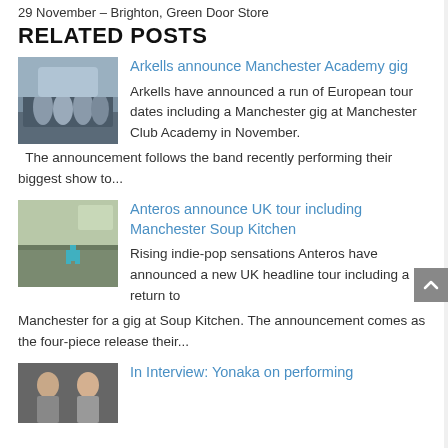29 November – Brighton, Green Door Store
RELATED POSTS
[Figure (photo): Band photo of Arkells standing near a vehicle outdoors]
Arkells announce Manchester Academy gig
Arkells have announced a run of European tour dates including a Manchester gig at Manchester Club Academy in November.  The announcement follows the band recently performing their biggest show to...
[Figure (photo): Anteros performing on stage in front of a large festival crowd]
Anteros announce UK tour including Manchester Soup Kitchen
Rising indie-pop sensations Anteros have announced a new UK headline tour including a return to Manchester for a gig at Soup Kitchen. The announcement comes as the four-piece release their...
[Figure (photo): Yonaka band members portrait photo]
In Interview: Yonaka on performing